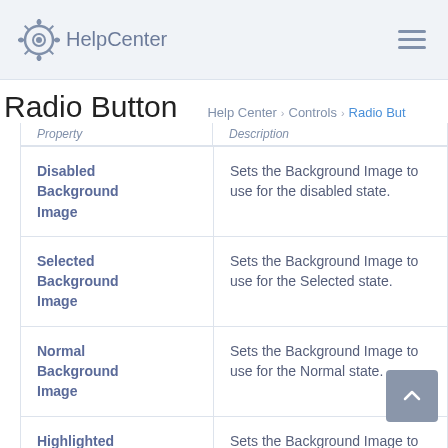HelpCenter
Radio Button
Help Center > Controls > Radio Button
| Property | Description |
| --- | --- |
| Disabled Background Image | Sets the Background Image to use for the disabled state. |
| Selected Background Image | Sets the Background Image to use for the Selected state. |
| Normal Background Image | Sets the Background Image to use for the Normal state. |
| Highlighted Background Image | Sets the Background Image to use for the Highlighted state. |